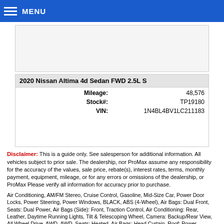MENU
[Figure (photo): Vehicle image placeholder area (light gray box)]
| 2020 Nissan Altima 4d Sedan FWD 2.5L S |  |
| --- | --- |
| Mileage: | 48,576 |
| Stock#: | TP19180 |
| VIN: | 1N4BL4BV1LC211183 |
Disclaimer: This is a guide only. See salesperson for additional information. All vehicles subject to prior sale. The dealership, nor ProMax assume any responsibility for the accuracy of the values, sale price, rebate(s), interest rates, terms, monthly payment, equipment, mileage, or for any errors or omissions of the dealership, or ProMax Please verify all information for accuracy prior to purchase.
Air Conditioning, AM/FM Stereo, Cruise Control, Gasoline, Mid-Size Car, Power Door Locks, Power Steering, Power Windows, BLACK, ABS (4-Wheel), Air Bags: Dual Front, Seats: Dual Power, Air Bags (Side): Front, Traction Control, Air Conditioning: Rear, Leather, Daytime Running Lights, Tilt & Telescoping Wheel, Camera: Backup/Rear View, All Wheel Drive, AWD, AWD, Seats: Heated, Air Bags: Head Curtain, Roof: Power Sunroof, Electronic Stability Control, 4-Cyl Turbo 2.0 Liter, Audi, Auto 8-Spd Tiptronic, Premium, Alarm System, Xenon Headlamps, Air Bags: Knee, Power Trunk Release, 2018, A6, A6, Parking System Plus, 4d Sedan 2.0T Quattro Premium, CD/MP3: Single Disc, Bluetooth Connection, Front Side Air Bag, Front Head Air Bag, Rear Head Air Bag, Child Safety Locks, Daytime Running Lights, Traction Control, Stability Control, Brake Assist, Driver Air